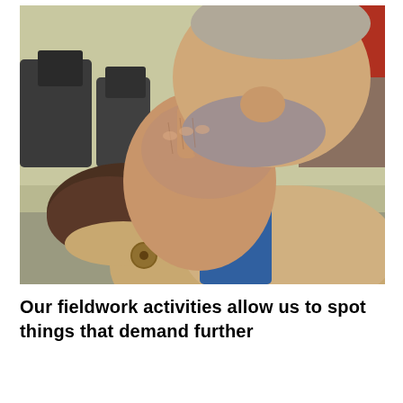[Figure (photo): Close-up photograph of an older man with grey beard stubble smoking a cigarette, holding his hand up to his mouth. He wears a blue shirt and a tan/beige sherpa-lined jacket. Background shows dark chairs in a room.]
Our fieldwork activities allow us to spot things that demand further